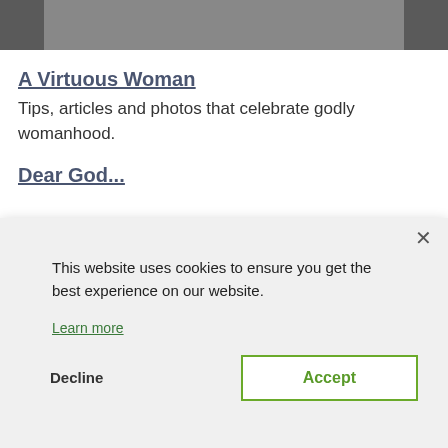[Figure (photo): Partial photo of a person, cropped at top of page, dark/grey tones]
A Virtuous Woman
Tips, articles and photos that celebrate godly womanhood.
Dear God...
[Figure (screenshot): Cookie consent banner overlay with close button (×), message 'This website uses cookies to ensure you get the best experience on our website.', 'Learn more' link, and two buttons: 'Decline' and 'Accept']